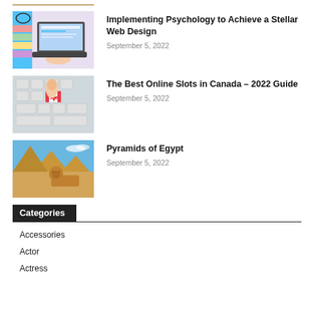[Figure (photo): Partially visible photo at top of page (cropped)]
[Figure (photo): Person working on laptop with design tools visible]
Implementing Psychology to Achieve a Stellar Web Design
September 5, 2022
[Figure (photo): Finger pressing Canadian flag key on keyboard]
The Best Online Slots in Canada – 2022 Guide
September 5, 2022
[Figure (photo): Pyramids and Sphinx of Egypt under blue sky]
Pyramids of Egypt
September 5, 2022
Categories
Accessories
Actor
Actress